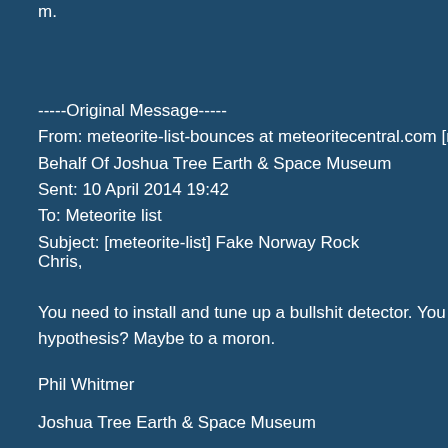m.
-----Original Message-----
From: meteorite-list-bounces at meteoritecentral.com [mai...
Behalf Of Joshua Tree Earth & Space Museum
Sent: 10 April 2014 19:42
To: Meteorite list
Subject: [meteorite-list] Fake Norway Rock
Chris,
You need to install and tune up a bullshit detector. You see... hypothesis? Maybe to a moron.
Phil Whitmer
Joshua Tree Earth & Space Museum
------------------------------------------------